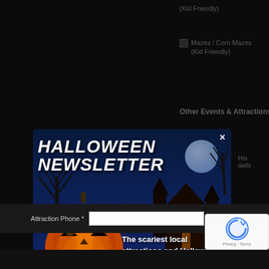(Kid Friendly)
Mazes / Corn Mazes (Kid Friendly)
Other Events & Attractions
[Figure (screenshot): Halloween Newsletter popup modal overlay on a dark website background. Features a spooky Halloween-themed banner with a glowing jack-o-lantern pumpkin, haunted house silhouette, bare trees, moon, and gravestones against a dark blue night sky. Title reads 'HALLOWEEN NEWSLETTER' with a close X button. Text reads 'The scariest local attractions and Halloween news to your inbox all season long'. Below: '• Louisiana Edition •'. Email signup form with '[your email]' input field and orange 'Join' button.]
• Louisiana Edition •
[your email]
Join
Attraction Phone *
(example: 6